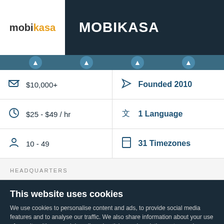MOBIKASA
| $10,000+ | Founded 2010 |
| $25 - $49 / hr | 1 Language |
| 10 - 49 | 31 Timezones |
HEADQUARTERS
This website uses cookies
We use cookies to personalise content and ads, to provide social media features and to analyse our traffic. We also share information about your use of our site with our social media, advertising and analytics partners who may combine it with other information that you've provided to them or that they've collected from your use of their services. You agree to our cookies if you continue to use our website.
Close
Show details